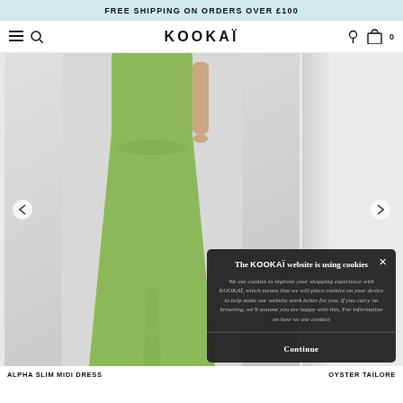FREE SHIPPING ON ORDERS OVER £100
[Figure (screenshot): KOOKAI website navigation bar with hamburger menu, search icon, KOOKAI logo, location pin icon, and shopping bag icon with 0]
[Figure (photo): Model wearing a sage/light green slim midi dress, cropped to show torso and skirt. A partially visible second product image appears on the right side. Navigation arrows on left and right. A cookie consent overlay popup appears in the lower right, reading: The KOOKAI website is using cookies. We use cookies to improve your shopping experience with KOOKAI, which means that we will place cookies on your device to help make our website work better for you. If you carry on browsing, we'll assume you are happy with this. For information on how we use cookies. Continue button at bottom.]
ALPHA SLIM MIDI DRESS
OYSTER TAILORE